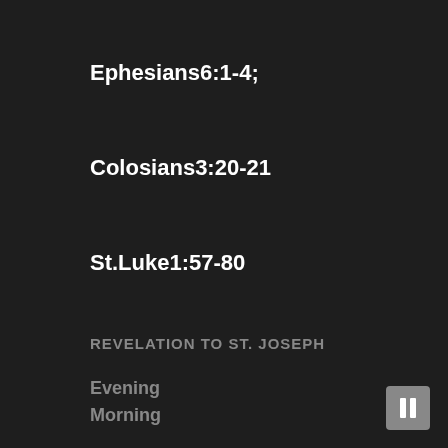Ephesians6:1-4;
Colosians3:20-21
St.Luke1:57-80
REVELATION TO ST. JOSEPH
Evening
St.John6:30-46
Morning